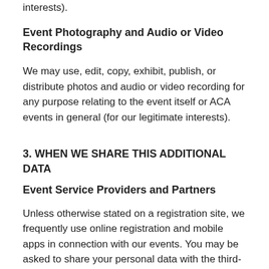interests).
Event Photography and Audio or Video Recordings
We may use, edit, copy, exhibit, publish, or distribute photos and audio or video recording for any purpose relating to the event itself or ACA events in general (for our legitimate interests).
3. WHEN WE SHARE THIS ADDITIONAL DATA
Event Service Providers and Partners
Unless otherwise stated on a registration site, we frequently use online registration and mobile apps in connection with our events. You may be asked to share your personal data with the third-party provider of online registration services and mobile apps or other service providers and event partners as needed to provide you with information and services